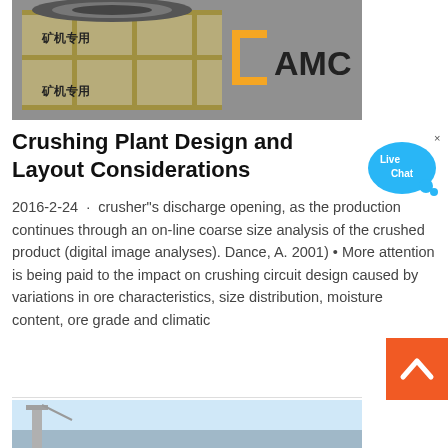[Figure (photo): Photo of industrial mining equipment in a wooden crate with Chinese text and AMC logo]
Crushing Plant Design and Layout Considerations
[Figure (infographic): Live Chat button widget with blue speech bubble]
2016-2-24 · crusher"s discharge opening, as the production continues through an on-line coarse size analysis of the crushed product (digital image analyses). Dance, A. 2001) • More attention is being paid to the impact on crushing circuit design caused by variations in ore characteristics, size distribution, moisture content, ore grade and climatic
[Figure (infographic): Orange back-to-top button with upward chevron arrow]
[Figure (photo): Photo of large industrial crushing plant with blue sky background]